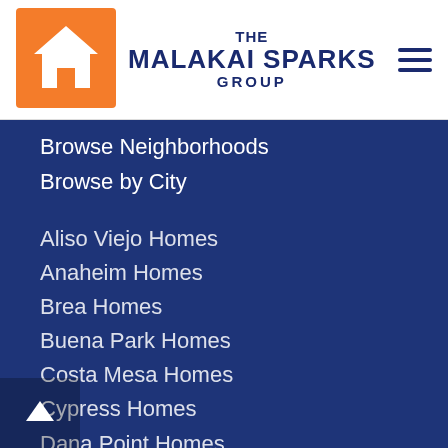[Figure (logo): The Malakai Sparks Group logo — orange square with white house icon, navy blue text reading THE MALAKAI SPARKS GROUP]
Browse Neighborhoods
Browse by City
Aliso Viejo Homes
Anaheim Homes
Brea Homes
Buena Park Homes
Costa Mesa Homes
Cypress Homes
Dana Point Homes
Fountain Valley Homes
Fullerton Homes
Garden Grove Homes
Huntington Beach Homes